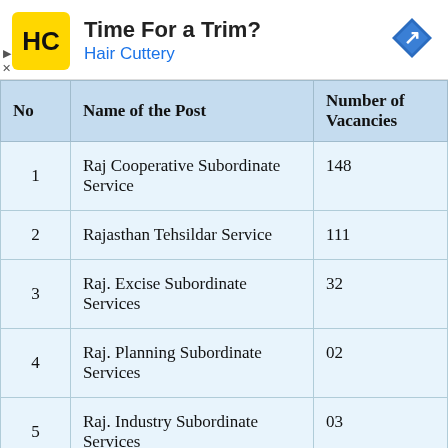[Figure (other): Advertisement banner for Hair Cuttery with logo, text 'Time For a Trim? Hair Cuttery', and a navigation arrow icon on the right.]
| No | Name of the Post | Number of Vacancies |
| --- | --- | --- |
| 1 | Raj Cooperative Subordinate Service | 148 |
| 2 | Rajasthan Tehsildar Service | 111 |
| 3 | Raj. Excise Subordinate Services | 32 |
| 4 | Raj. Planning Subordinate Services | 02 |
| 5 | Raj. Industry Subordinate Services | 03 |